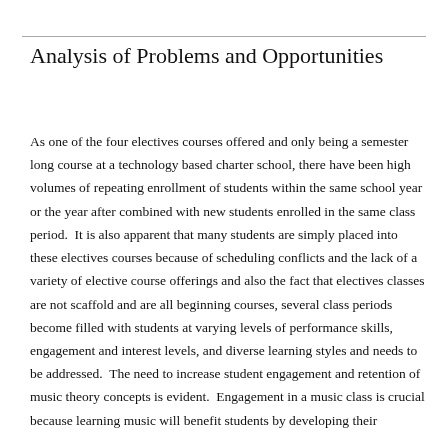Analysis of Problems and Opportunities
As one of the four electives courses offered and only being a semester long course at a technology based charter school, there have been high volumes of repeating enrollment of students within the same school year or the year after combined with new students enrolled in the same class period.  It is also apparent that many students are simply placed into these electives courses because of scheduling conflicts and the lack of a variety of elective course offerings and also the fact that electives classes are not scaffold and are all beginning courses, several class periods become filled with students at varying levels of performance skills, engagement and interest levels, and diverse learning styles and needs to be addressed.  The need to increase student engagement and retention of music theory concepts is evident.  Engagement in a music class is crucial because learning music will benefit students by developing their